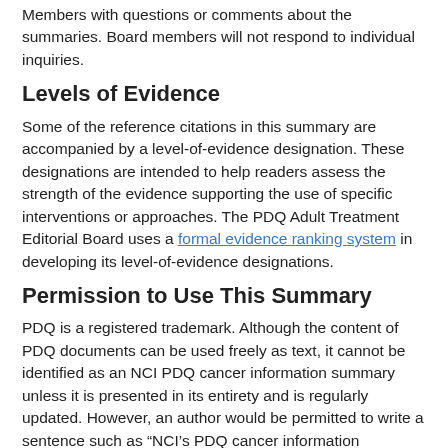Members with questions or comments about the summaries. Board members will not respond to individual inquiries.
Levels of Evidence
Some of the reference citations in this summary are accompanied by a level-of-evidence designation. These designations are intended to help readers assess the strength of the evidence supporting the use of specific interventions or approaches. The PDQ Adult Treatment Editorial Board uses a formal evidence ranking system in developing its level-of-evidence designations.
Permission to Use This Summary
PDQ is a registered trademark. Although the content of PDQ documents can be used freely as text, it cannot be identified as an NCI PDQ cancer information summary unless it is presented in its entirety and is regularly updated. However, an author would be permitted to write a sentence such as “NCI’s PDQ cancer information summary about breast